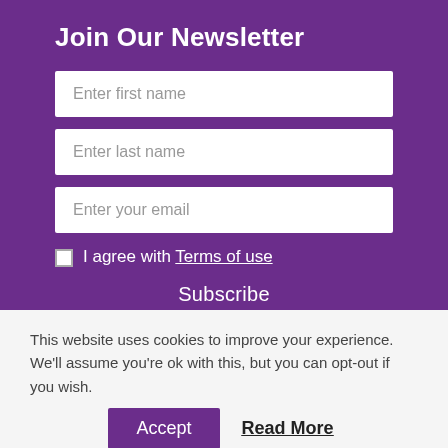Join Our Newsletter
Enter first name
Enter last name
Enter your email
I agree with Terms of use
Subscribe
This website uses cookies to improve your experience. We'll assume you're ok with this, but you can opt-out if you wish.
Accept
Read More